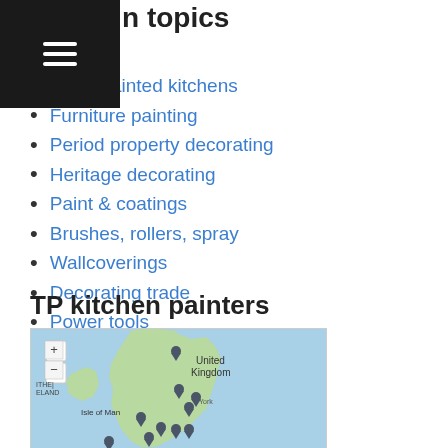n topics
Hand painted kitchens
Furniture painting
Period property decorating
Heritage decorating
Paint & coatings
Brushes, rollers, spray
Wallcoverings
Decorating trade
Power tools
Access equipment
Cosmetic repairs
TP kitchen painters
[Figure (map): Map of United Kingdom with location pins marking TP kitchen painters locations]